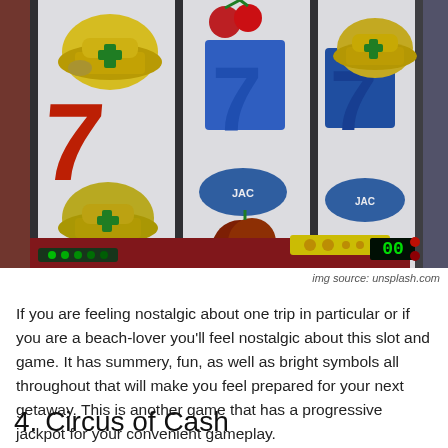[Figure (photo): Close-up photo of a slot machine showing three reels with symbols including yellow helmets, red 7s, blue 7s, cherries, and JAC labels on blue oval buttons. A green dot display and yellow coin mechanism are visible. The machine has a retro arcade style.]
img source: unsplash.com
If you are feeling nostalgic about one trip in particular or if you are a beach-lover you'll feel nostalgic about this slot and game. It has summery, fun, as well as bright symbols all throughout that will make you feel prepared for your next getaway. This is another game that has a progressive jackpot for your convenient gameplay.
4. Circus of Cash